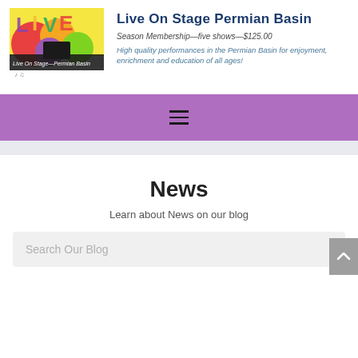[Figure (logo): Live On Stage Permian Basin colorful logo with text 'Live On Stage—Permian Basin' on a dark banner, featuring musical and artistic imagery]
Live On Stage Permian Basin
Season Membership—five shows—$125.00
High quality performances in the Permian Basin for enjoyment, enrichment and education of all ages!
[Figure (other): Purple navigation bar with hamburger menu icon (three horizontal lines)]
News
Learn about News on our blog
Search Our Blog